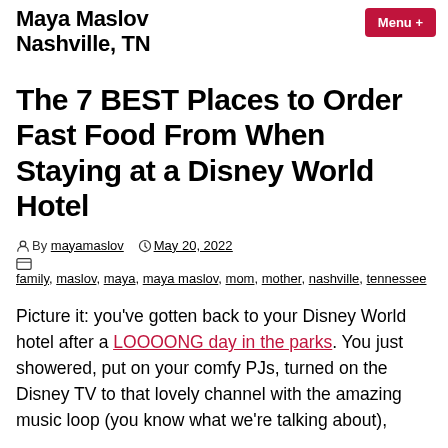Maya Maslov Nashville, TN
The 7 BEST Places to Order Fast Food From When Staying at a Disney World Hotel
By mayamaslov  May 20, 2022
family, maslov, maya, maya maslov, mom, mother, nashville, tennessee
Picture it: you've gotten back to your Disney World hotel after a LOOOONG day in the parks. You just showered, put on your comfy PJs, turned on the Disney TV to that lovely channel with the amazing music loop (you know what we're talking about),